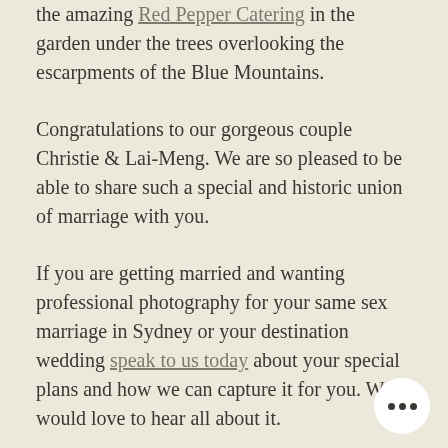the amazing Red Pepper Catering in the garden under the trees overlooking the escarpments of the Blue Mountains.
Congratulations to our gorgeous couple Christie & Lai-Meng. We are so pleased to be able to share such a special and historic union of marriage with you.
If you are getting married and wanting professional photography for your same sex marriage in Sydney or your destination wedding speak to us today about your special plans and how we can capture it for you. We would love to hear all about it.